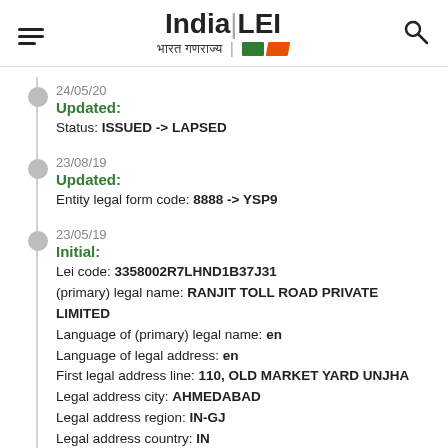India LEI — भारत गणराज्य
24/05/20
Updated:
Status: ISSUED -> LAPSED
23/08/19
Updated:
Entity legal form code: 8888 -> YSP9
23/05/19
Initial:
Lei code: 3358002R7LHND1B37J31
(primary) legal name: RANJIT TOLL ROAD PRIVATE LIMITED
Language of (primary) legal name: en
Language of legal address: en
First legal address line: 110, OLD MARKET YARD UNJHA
Legal address city: AHMEDABAD
Legal address region: IN-GJ
Legal address country: IN
Legal address postal code: 384170
Language of headquarters address: en
First headquarters address line: "RANJIT HOUSE" OPP. SUN RESIDENCY